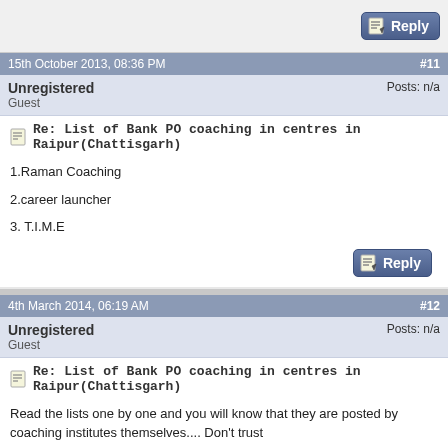[Figure (screenshot): Reply button at top right of page]
15th October 2013, 08:36 PM   #11
Unregistered
Guest
Posts: n/a
Re: List of Bank PO coaching in centres in Raipur(Chattisgarh)
1.Raman Coaching
2.career launcher
3. T.I.M.E
[Figure (screenshot): Reply button]
4th March 2014, 06:19 AM   #12
Unregistered
Guest
Posts: n/a
Re: List of Bank PO coaching in centres in Raipur(Chattisgarh)
Read the lists one by one and you will know that they are posted by coaching institutes themselves.... Don't trust
[Figure (screenshot): Reply button]